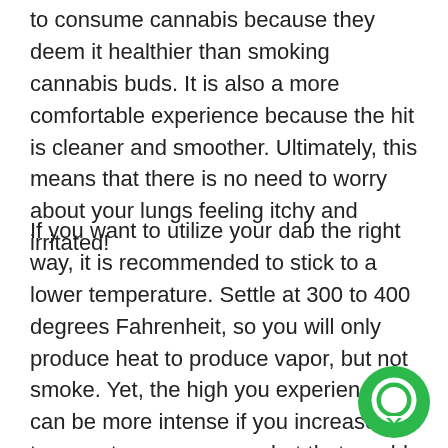to consume cannabis because they deem it healthier than smoking cannabis buds. It is also a more comfortable experience because the hit is cleaner and smoother. Ultimately, this means that there is no need to worry about your lungs feeling itchy and irritated!
If you want to utilize your dab the right way, it is recommended to stick to a lower temperature. Settle at 300 to 400 degrees Fahrenheit, so you will only produce heat to produce vapor, but not smoke. Yet, the high you experience can be more intense if you increase the temperature even more, but that would induce combustion, so smoke will be produced instead of vapor.
[Figure (illustration): Green circular chat/message icon in the bottom right corner of the page]